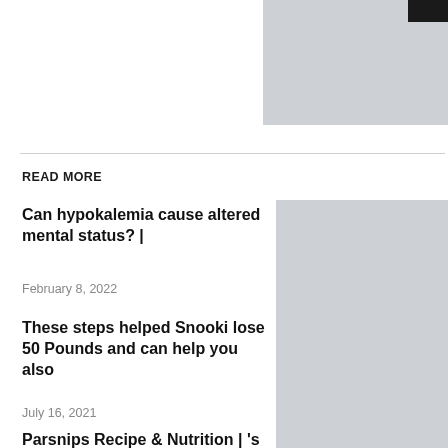[Figure (photo): Thumbnail image placeholder (gray with black rectangle in top right corner)]
READ MORE
Can hypokalemia cause altered mental status? |
February 8, 2022
[Figure (photo): Gray thumbnail image placeholder]
These steps helped Snooki lose 50 Pounds and can help you also
July 16, 2021
[Figure (photo): Gray thumbnail image placeholder]
Parsnips Recipe & Nutrition | 's Encyclopedia of Food
July 29, 2021
[Figure (photo): Gray thumbnail image placeholder (partially visible)]